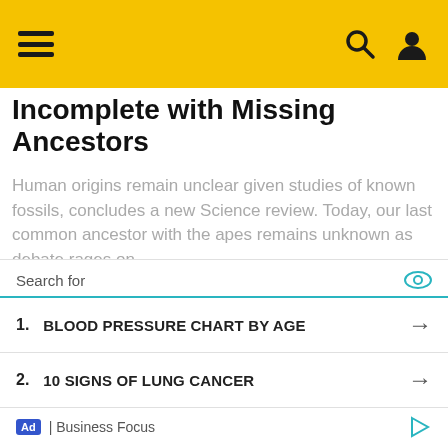Incomplete with Missing Ancestors
Incomplete with Missing Ancestors
Human origins remain unclear given studies of known fossils, concludes a new Science review. Today, our last common ancestor with the apes remains unknown as debate rages on...
Search for
1. BLOOD PRESSURE CHART BY AGE
2. 10 SIGNS OF LUNG CANCER
Ad | Business Focus